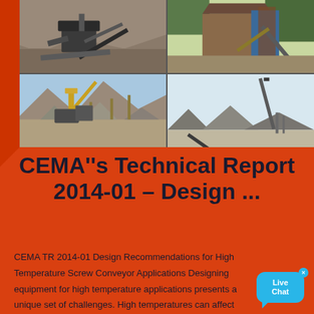[Figure (photo): 2x2 grid of four photos showing mining/quarrying and conveyor equipment installations at industrial sites. Top-left: open-pit mining crusher equipment. Top-right: industrial building with conveyor belt. Bottom-left: yellow conveyor belt system at quarry with mountains in background. Bottom-right: conveyor belt and aggregate pile at industrial site.]
CEMA"s Technical Report 2014-01 – Design ...
CEMA TR 2014-01 Design Recommendations for High Temperature Screw Conveyor Applications Designing equipment for high temperature applications presents a unique set of challenges. High temperatures can affect structural and mechanical components and if not